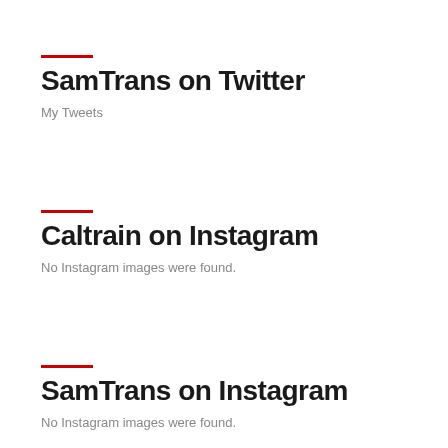SamTrans on Twitter
My Tweets
Caltrain on Instagram
No Instagram images were found.
SamTrans on Instagram
No Instagram images were found.